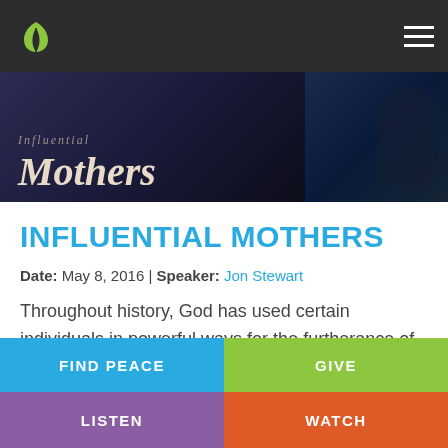[Figure (screenshot): Church website header with dark navbar showing a leaf logo and hamburger menu icon]
[Figure (photo): Hero banner image with text 'Mothers' in italic serif font on a dark background, partially cut off at top]
INFLUENTIAL MOTHERS
Date: May 8, 2016 | Speaker: Jon Stewart
Throughout history, God has used certain individuals in powerful ways for the furtherance of his Kingdom. In this message, we review the stories of 5 men and how the Lord used the influence of their mothers to shape them in their ministries.
FIND PEACE
GIVE
LISTEN
WATCH